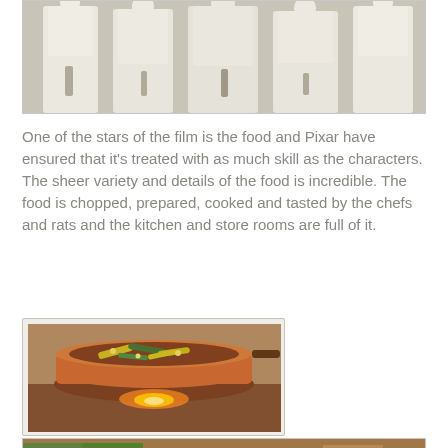[Figure (photo): Row of chefs in white chef's uniforms/jackets, cropped to show their torsos and hands, from the Ratatouille Pixar film]
One of the stars of the film is the food and Pixar have ensured that it's treated with as much skill as the characters. The sheer variety and details of the food is incredible. The food is chopped, prepared, cooked and tasted by the chefs and rats and the kitchen and store rooms are full of it.
[Figure (photo): A copper/brown cooking pan on a stove with vegetables cooking inside, glowing flame underneath, from the Ratatouille Pixar film]
[Figure (photo): A rat (Remy) being held by a human hand with herbs/plants in the background, from the Ratatouille Pixar film]